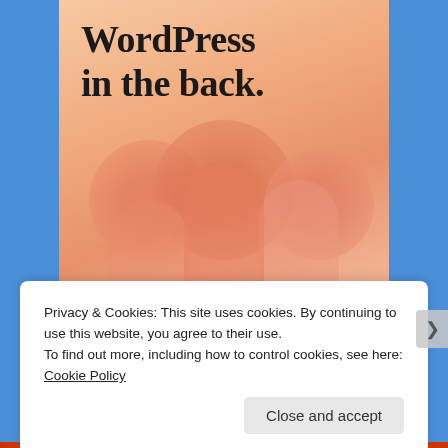[Figure (screenshot): A website screenshot showing a card with peach/orange gradient background and decorative pill/pillar shapes, with the bold title 'WordPress in the back.' displayed on an orange card against a blue background. A cookie consent banner overlays the bottom portion.]
WordPress in the back.
Privacy & Cookies: This site uses cookies. By continuing to use this website, you agree to their use.
To find out more, including how to control cookies, see here: Cookie Policy
Close and accept